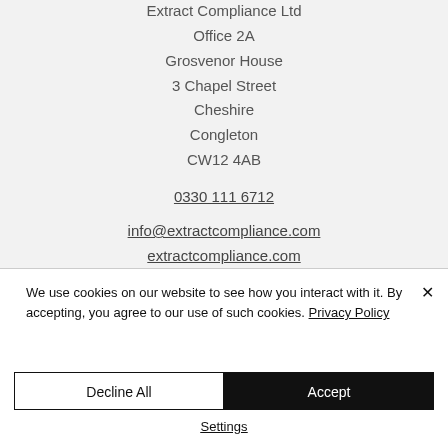Extract Compliance Ltd
Office 2A
Grosvenor House
3 Chapel Street
Cheshire
Congleton
CW12 4AB

0330 111 6712

info@extractcompliance.com
extractcompliance.com
We use cookies on our website to see how you interact with it. By accepting, you agree to our use of such cookies. Privacy Policy
Decline All
Accept
Settings